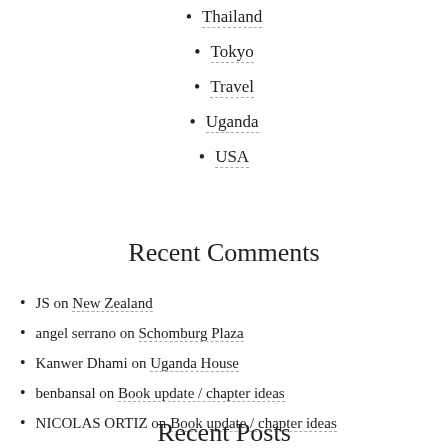Thailand
Tokyo
Travel
Uganda
USA
Recent Comments
JS on New Zealand
angel serrano on Schomburg Plaza
Kanwer Dhami on Uganda House
benbansal on Book update / chapter ideas
NICOLAS ORTIZ on Book update / chapter ideas
Recent Posts